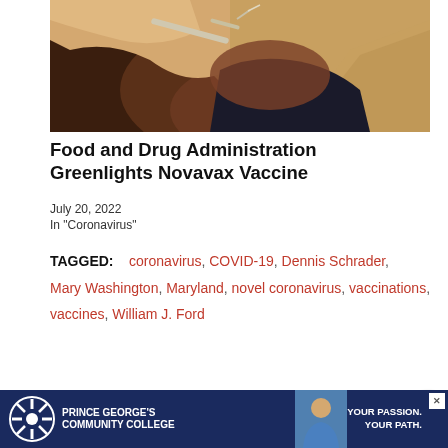[Figure (photo): Close-up photo of a person receiving an injection/vaccination in their upper arm]
Food and Drug Administration Greenlights Novavax Vaccine
July 20, 2022
In "Coronavirus"
TAGGED: coronavirus, COVID-19, Dennis Schrader, Mary Washington, Maryland, novel coronavirus, vaccinations, vaccines, William J. Ford
WILLIAM J. FORD
[Figure (advertisement): Prince George's Community College advertisement banner: 'Your Passion. Your Path.' with logo and nurse photo]